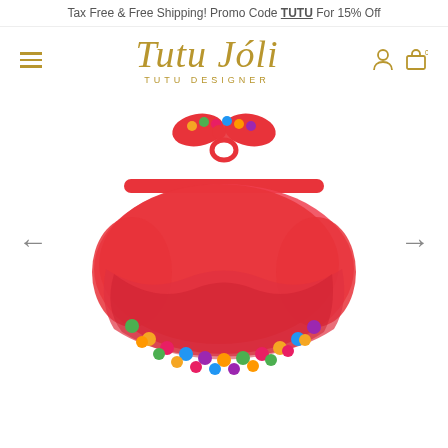Tax Free & Free Shipping! Promo Code TUTU For 15% Off
[Figure (logo): Tutu Joli brand logo with script font in gold/brown color and subtitle TUTU DESIGNER]
[Figure (photo): Red tutu skirt with colorful pom-pom trim along the bottom edge, paired with a red bow hair tie decorated with multicolored pom-poms, displayed on a white background. Navigation arrows on left and right sides.]